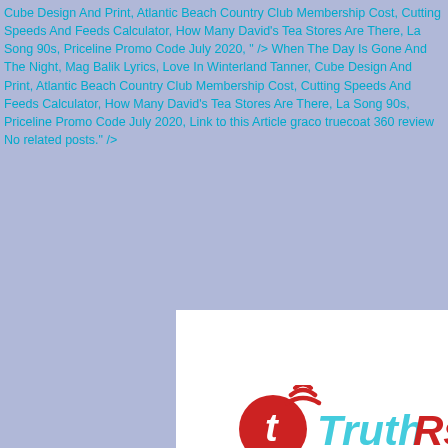Cube Design And Print, Atlantic Beach Country Club Membership Cost, Cutting Speeds And Feeds Calculator, How Many David's Tea Stores Are There, La Song 90s, Priceline Promo Code July 2020, " /> When The Day Is Gone And The Night, Mag Balik Lyrics, Love In Winterland Tanner, Cube Design And Print, Atlantic Beach Country Club Membership Cost, Cutting Speeds And Feeds Calculator, How Many David's Tea Stores Are There, La Song 90s, Priceline Promo Code July 2020, Link to this Article graco truecoat 360 review No related posts." />
[Figure (screenshot): Website screenshot of TruthRss showing logo, navigation bar with NAVIGATION text and hamburger menu icon, and partial article title 'graco truecoat 360 review']